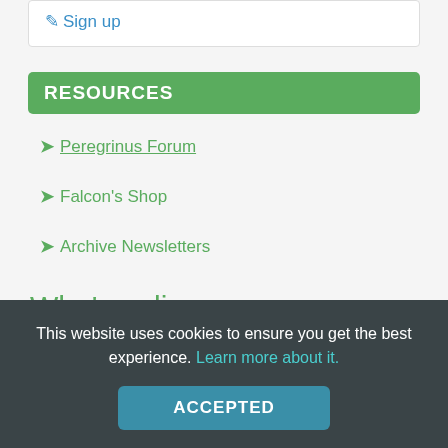Sign up
RESOURCES
Peregrinus Forum
Falcon's Shop
Archive Newsletters
Who's online
Online Users: 21
Guests: 508
This website uses cookies to ensure you get the best experience. Learn more about it.
ACCEPTED